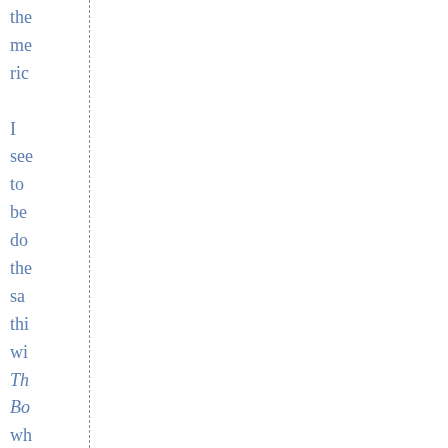the me ric I see to be do the sa thi wi Th Bo wh is ab the f